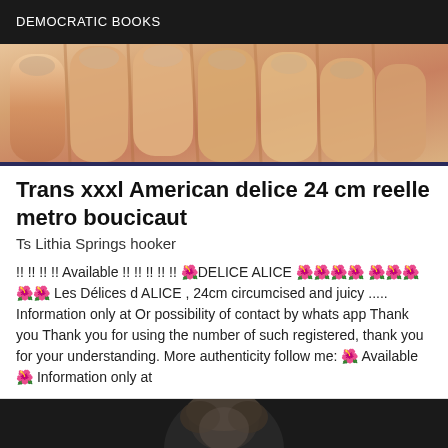DEMOCRATIC BOOKS
[Figure (photo): Close-up photo of human fingers/hand with skin tones in orange-peach colors]
Trans xxxl American delice 24 cm reelle metro boucicaut
Ts Lithia Springs hooker
!! !! !! !! Available !! !! !! !! !! 🌺DELICE ALICE 🌺🌺🌺🌺 🌺🌺🌺🌺🌺 Les Délices d ALICE , 24cm circumcised and juicy ..... Information only at Or possibility of contact by whats app Thank you Thank you for using the number of such registered, thank you for your understanding. More authenticity follow me: 🌺 Available 🌺 Information only at
[Figure (photo): Dark photo showing a person's head/hair against a dark background]